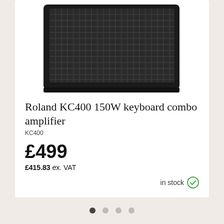[Figure (photo): Roland KC400 keyboard combo amplifier - black box-shaped amp with grid speaker grille, photographed at a slight angle on white background]
Roland KC400 150W keyboard combo amplifier
KC400
£499
£415.83 ex. VAT
in stock
Similar items